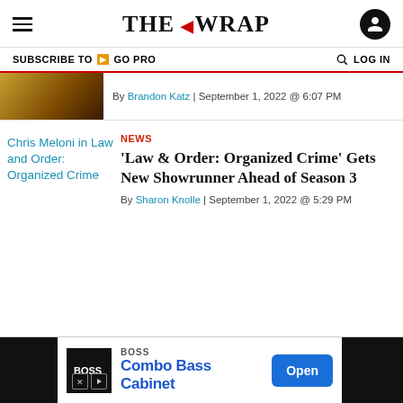THE WRAP
SUBSCRIBE TO GO PRO   LOG IN
By Brandon Katz | September 1, 2022 @ 6:07 PM
NEWS
'Law & Order: Organized Crime' Gets New Showrunner Ahead of Season 3
By Sharon Knolle | September 1, 2022 @ 5:29 PM
[Figure (screenshot): Chris Meloni in Law and Order: Organized Crime - article thumbnail image (broken image placeholder shown in blue link text)]
BOSS Combo Bass Cabinet Open